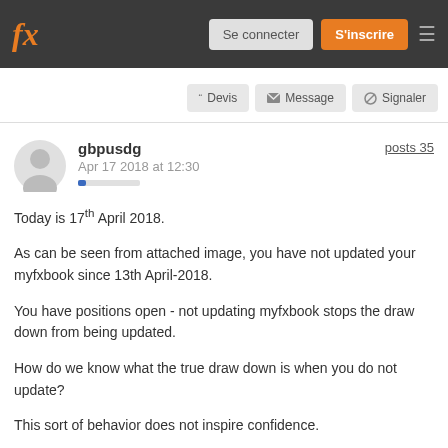fx — Se connecter | S'inscrire
Devis  Message  Signaler
gbpusdg
Apr 17 2018 at 12:30
posts 35
Today is 17th April 2018.

As can be seen from attached image, you have not updated your myfxbook since 13th April-2018.

You have positions open - not updating myfxbook stops the draw down from being updated.

How do we know what the true draw down is when you do not update?

This sort of behavior does not inspire confidence.